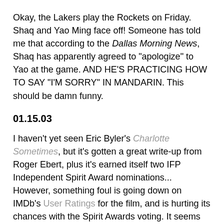Okay, the Lakers play the Rockets on Friday. Shaq and Yao Ming face off! Someone has told me that according to the Dallas Morning News, Shaq has apparently agreed to "apologize" to Yao at the game. AND HE'S PRACTICING HOW TO SAY "I'M SORRY" IN MANDARIN. This should be damn funny.
01.15.03
I haven't yet seen Eric Byler's Charlotte Sometimes, but it's gotten a great write-up from Roger Ebert, plus it's earned itself two IFP Independent Spirit Award nominations... However, something foul is going down on IMDb's User Ratings for the film, and is hurting its chances with the Spirit Awards voting. It seems that someone is trying to sabotage Charlotte Sometimes! While it has quite a few positive votes, somehow it has garnered a "1" with 39.5% of the voting pool. What's up with that? Like I said, I haven't seen it, but it cannot be THAT bad. This is sabotage, I say.